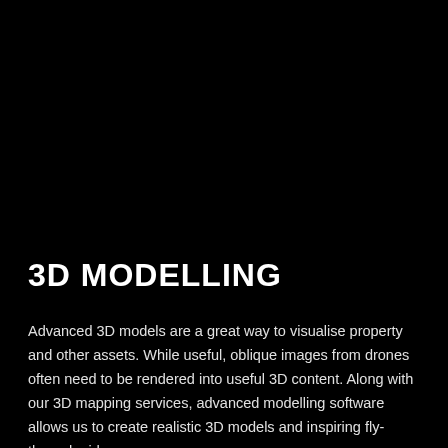[Figure (photo): Dark/black background image occupying the upper portion of the page, likely a 3D model or drone aerial scene rendered in dark tones.]
3D MODELLING
Advanced 3D models are a great way to visualise property and other assets. While useful, oblique images from drones often need to be rendered into useful 3D content. Along with our 3D mapping services, advanced modelling software allows us to create realistic 3D models and inspiring fly-through videos.